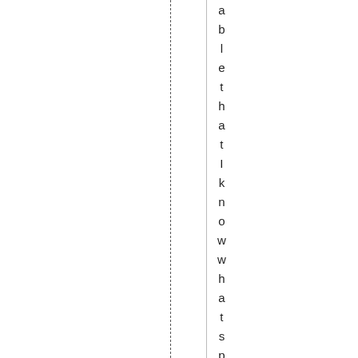able that I know what spaces I want to